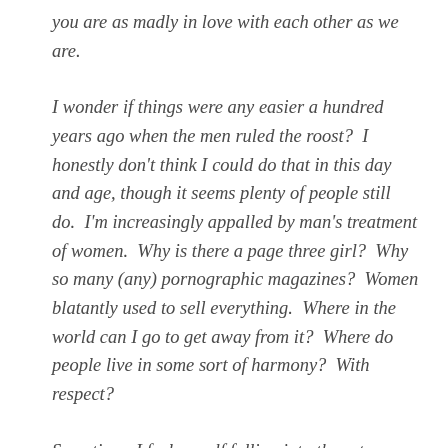you are as madly in love with each other as we are.
I wonder if things were any easier a hundred years ago when the men ruled the roost?  I honestly don't think I could do that in this day and age, though it seems plenty of people still do.  I'm increasingly appalled by man's treatment of women.  Why is there a page three girl?  Why so many (any) pornographic magazines?  Women blatantly used to sell everything.  Where in the world can I go to get away from it?  Where do people live in some sort of harmony?  With respect?
Sometimes I feel myself falling into these traps because they are ever present, bombarded at you from every media angle.  What future for our children?  So many decisions are made by few…